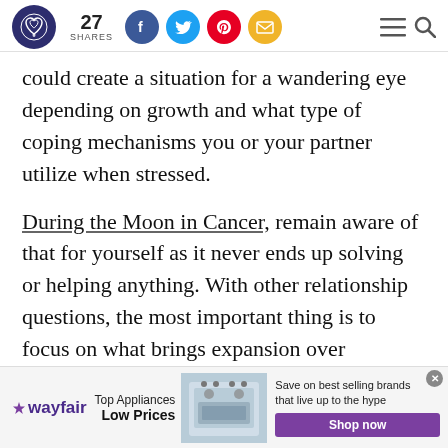27 SHARES [social share icons: Facebook, Twitter, Pinterest, Email] [menu] [search]
could create a situation for a wandering eye depending on growth and what type of coping mechanisms you or your partner utilize when stressed.
During the Moon in Cancer, remain aware of that for yourself as it never ends up solving or helping anything. With other relationship questions, the most important thing is to focus on what brings expansion over constriction.
[Figure (other): Wayfair advertisement banner: Top Appliances Low Prices, image of stove/range, Save on best selling brands that live up to the hype, Shop now button]